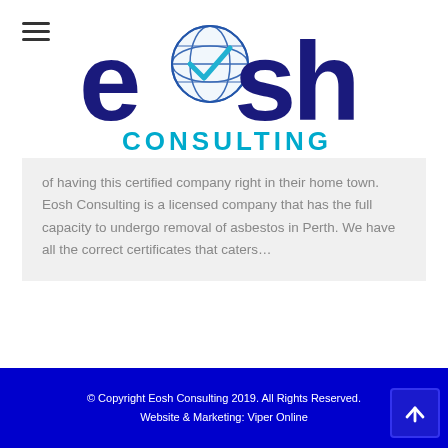[Figure (logo): Eosh Consulting logo: stylized 'eosh' text in dark navy blue with a globe and checkmark icon, and 'CONSULTING' in teal/cyan below]
of having this certified company right in their home town. Eosh Consulting is a licensed company that has the full capacity to undergo removal of asbestos in Perth. We have all the correct certificates that caters…
© Copyright Eosh Consulting 2019. All Rights Reserved.
Website & Marketing: Viper Online